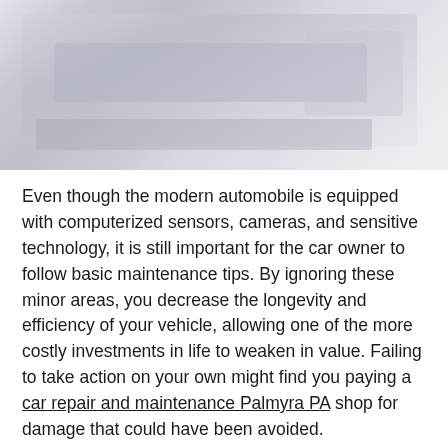[Figure (photo): Faded/washed-out photo of a car engine bay or automotive interior, showing mechanical components in muted blue-grey tones]
Even though the modern automobile is equipped with computerized sensors, cameras, and sensitive technology, it is still important for the car owner to follow basic maintenance tips. By ignoring these minor areas, you decrease the longevity and efficiency of your vehicle, allowing one of the more costly investments in life to weaken in value. Failing to take action on your own might find you paying a car repair and maintenance Palmyra PA shop for damage that could have been avoided.